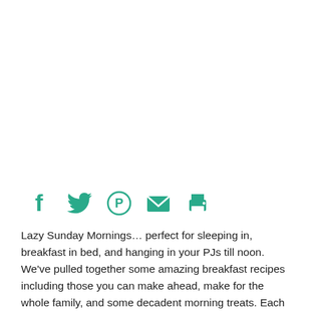[Figure (other): Large blank white image area at the top of the page]
[Figure (infographic): Row of five teal social sharing icons: Facebook (f), Twitter (bird), Pinterest (P in circle), Email (envelope), Print (printer)]
Lazy Sunday Mornings… perfect for sleeping in, breakfast in bed, and hanging in your PJs till noon. We've pulled together some amazing breakfast recipes including those you can make ahead, make for the whole family, and some decadent morning treats. Each one is perfect for your favorite lazy mornings.